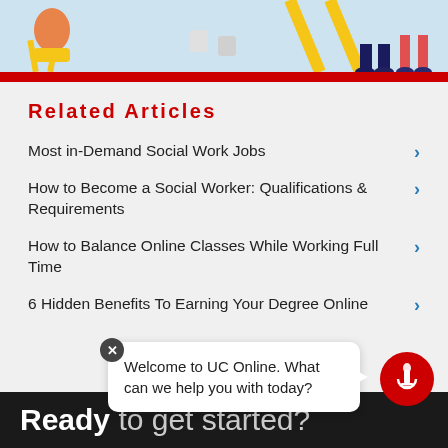[Figure (illustration): Partial illustration at top of page showing people sitting, with light blue background — cropped at top]
Related Articles
Most in-Demand Social Work Jobs
How to Become a Social Worker: Qualifications & Requirements
How to Balance Online Classes While Working Full Time
6 Hidden Benefits To Earning Your Degree Online
[Figure (logo): UC Online logo — red circle with white UC torch mark]
Welcome to UC Online. What can we help you with today?
Ready to get started?